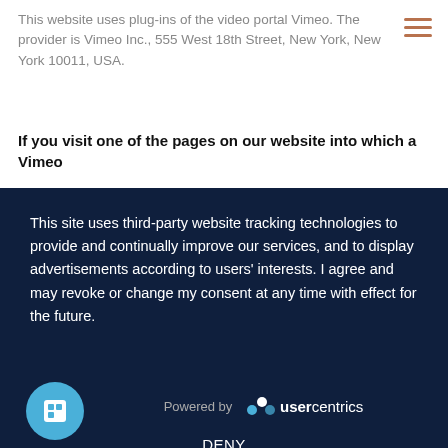This website uses plug-ins of the video portal Vimeo. The provider is Vimeo Inc., 555 West 18th Street, New York, New York 10011, USA.
If you visit one of the pages on our website into which a Vimeo
This site uses third-party website tracking technologies to provide and continually improve our services, and to display advertisements according to users' interests. I agree and may revoke or change my consent at any time with effect for the future.
DENY
ACCEPT
MORE
Powered by usercentrics